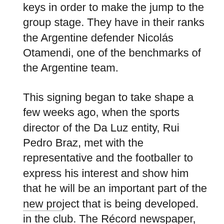keys in order to make the jump to the group stage. They have in their ranks the Argentine defender Nicolás Otamendi, one of the benchmarks of the Argentine team.
This signing began to take shape a few weeks ago, when the sports director of the Da Luz entity, Rui Pedro Braz, met with the representative and the footballer to express his interest and show him that he will be an important part of the new project that is being developed. in the club. The Récord newspaper, for its part, adds that a key player in this story was Enzo Pérez, who knew how to shine in the Portuguese institution when he arrived from Estudiantes de La Plata.